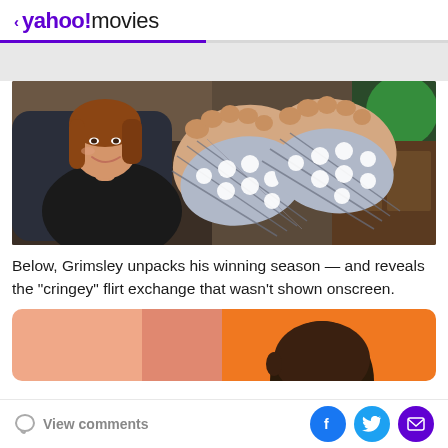< yahoo!movies
[Figure (photo): A woman smiling in a chair with feet raised showing textured shoe soles with circular dot pattern, in a living room setting]
Below, Grimsley unpacks his winning season — and reveals the "cringey" flirt exchange that wasn't shown onscreen.
[Figure (photo): Orange background image with partial view of a person's head, shown cropped at bottom of page]
View comments | Facebook share | Twitter share | Email share